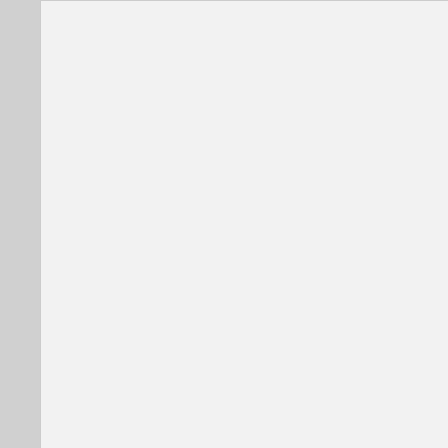[Figure (other): Blank light gray panel on the left side of the page]
guy is garbage. Stop wasting your ti